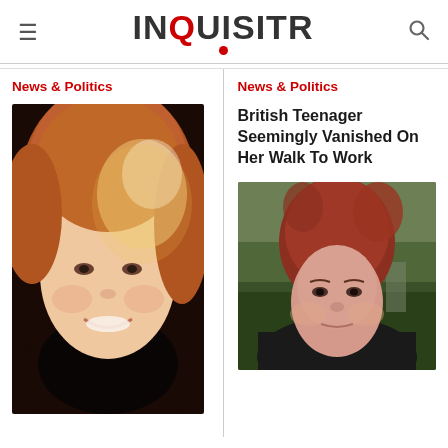INQUISITR
News & Politics
[Figure (photo): Portrait photo of a young woman with long blonde/auburn hair, smiling]
News & Politics
British Teenager Seemingly Vanished On Her Walk To Work
[Figure (photo): Photo of a young woman with red/auburn hair outdoors]